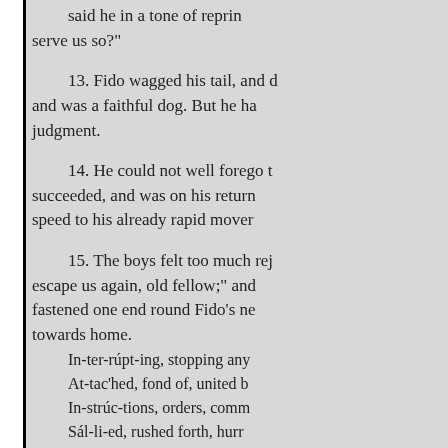said he in a tone of repri
serve us so?"
13. Fido wagged his tail, and d and was a faithful dog. But he ha judgment.
14. He could not well forego t succeeded, and was on his return speed to his already rapid mover
15. The boys felt too much rej escape us again, old fellow;" and fastened one end round Fido's ne towards home.
In-ter-rúpt-ing, stopping any
At-tac'hed, fond of, united b
In-strúc-tions, orders, comm
Sál-li-ed, rushed forth, hurr